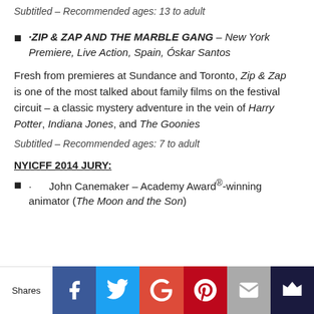Subtitled – Recommended ages: 13 to adult
·ZIP & ZAP AND THE MARBLE GANG – New York Premiere, Live Action, Spain, Óskar Santos
Fresh from premieres at Sundance and Toronto, Zip & Zap is one of the most talked about family films on the festival circuit – a classic mystery adventure in the vein of Harry Potter, Indiana Jones, and The Goonies
Subtitled – Recommended ages: 7 to adult
NYICFF 2014 JURY:
John Canemaker – Academy Award®-winning animator (The Moon and the Son)